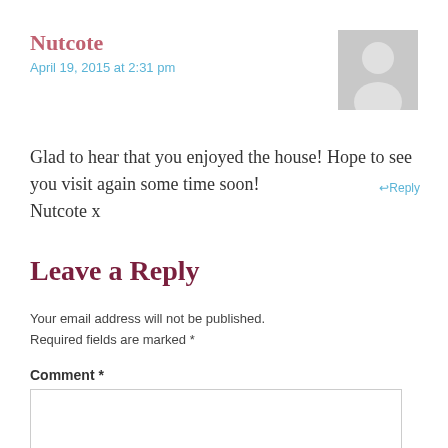Nutcote
April 19, 2015 at 2:31 pm
[Figure (illustration): Generic user avatar placeholder — grey silhouette of a person on a light grey background]
Glad to hear that you enjoyed the house! Hope to see you visit again some time soon!
Nutcote x
Leave a Reply
Your email address will not be published. Required fields are marked *
Comment *